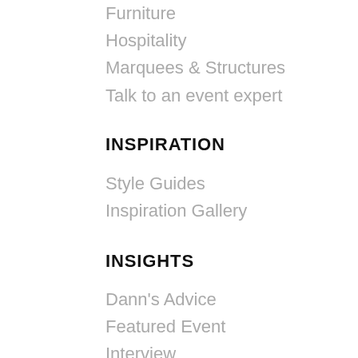Furniture
Hospitality
Marquees & Structures
Talk to an event expert
INSPIRATION
Style Guides
Inspiration Gallery
INSIGHTS
Dann's Advice
Featured Event
Interview
Style Edit
Styled Shoot
Trends